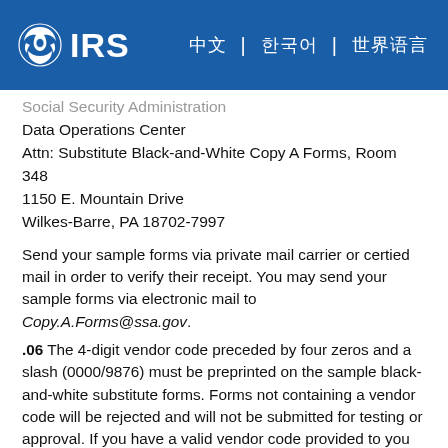IRS | [navigation icons]
Social Security Administration
Data Operations Center
Attn: Substitute Black-and-White Copy A Forms, Room 348
1150 E. Mountain Drive
Wilkes-Barre, PA 18702-7997
Send your sample forms via private mail carrier or certied mail in order to verify their receipt. You may send your sample forms via electronic mail to Copy.A.Forms@ssa.gov.
.06 The 4-digit vendor code preceded by four zeros and a slash (0000/9876) must be preprinted on the sample black-and-white substitute forms. Forms not containing a vendor code will be rejected and will not be submitted for testing or approval. If you have a valid vendor code provided to you through the National Association of Computerized Tax Processors, you should use that code. If you do not have a valid vendor code, contact the Social Security Administration at copy.a.forms@ssa.gov to obtain